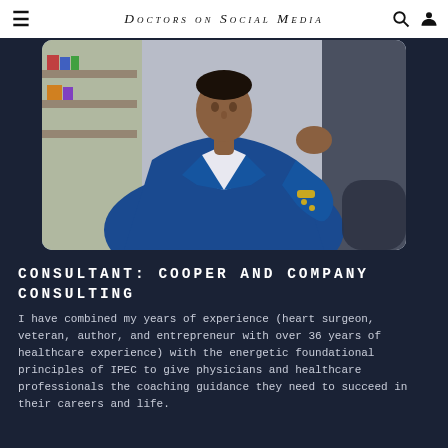Doctors on Social Media
[Figure (photo): Man in blue suit jacket, sitting with arms crossed, thoughtful pose, professional setting]
Consultant: Cooper and Company Consulting
I have combined my years of experience (heart surgeon, veteran, author, and entrepreneur with over 36 years of healthcare experience) with the energetic foundational principles of IPEC to give physicians and healthcare professionals the coaching guidance they need to succeed in their careers and life.